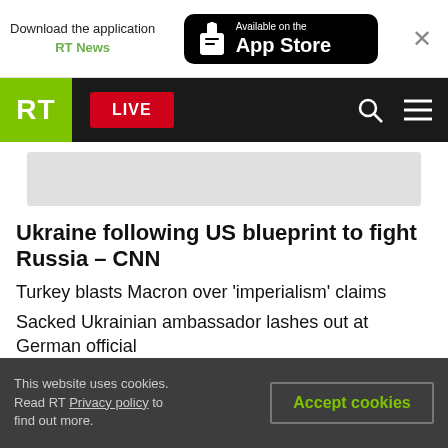Download the application RT News — Available on the App Store
[Figure (screenshot): RT News website navigation bar with RT logo (green), LIVE button (red), search and menu icons on black background]
[Figure (photo): Partially visible blurred image placeholder below navigation bar]
Ukraine following US blueprint to fight Russia – CNN
Turkey blasts Macron over 'imperialism' claims
Sacked Ukrainian ambassador lashes out at German official
Germany vows to support Ukraine 'for years'
This website uses cookies. Read RT Privacy policy to find out more.